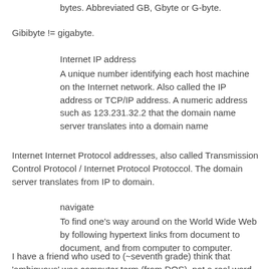bytes. Abbreviated GB, Gbyte or G-byte.
Gibibyte != gigabyte.
Internet IP address
A unique number identifying each host machine on the Internet network. Also called the IP address or TCP/IP address. A numeric address such as 123.231.32.2 that the domain name server translates into a domain name
Internet Internet Protocol addresses, also called Transmission Control Protocol / Internet Protocol Protoccol. The domain server translates from IP to domain.
navigate
To find one's way around on the World Wide Web by following hypertext links from document to document, and from computer to computer.
I have a friend who used to (~seventh grade) think that 'ambiguous' was computer term (from DOS), not a real word.